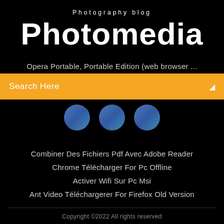Photography blog
Photomedia
Opera Portable, Portable Edition (web browser ...
Search Here
[Figure (illustration): Three blue circular icons partially visible below the search bar]
Combiner Des Fichiers Pdf Avec Adobe Reader
Chrome Télécharger For Pc Offline
Activer Wifi Sur Pc Msi
Ant Video Téléchargerer For Firefox Old Version
Copyright ©2022 All rights reserved